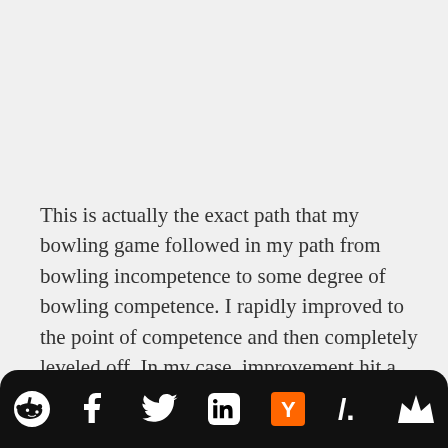This is actually the exact path that my bowling game followed in my path from bowling incompetence to some degree of bowling competence. I rapidly improved to the point of competence and then completely leveled off. In my case, improvement hit a local maximum and then stopped altogether, as I was too busy to
[Figure (other): Social media share bar with icons: Reddit, Facebook, Twitter, LinkedIn, Hacker News (Y), Slashdot, and a crown icon]